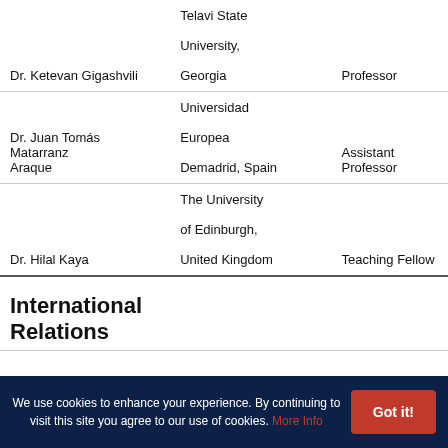| Name | Institution | Position |
| --- | --- | --- |
| Dr. Ketevan Gigashvili | Telavi State University, Georgia | Professor |
| Dr. Juan Tomás Matarranz Araque | Universidad Europea Demadrid, Spain | Assistant Professor |
| Dr. Hilal Kaya | The University of Edinburgh, United Kingdom | Teaching Fellow |
International Relations
| Name | Institution | Position |
| --- | --- | --- |
|  | Qurtuba University Of |  |
We use cookies to enhance your experience. By continuing to visit this site you agree to our use of cookies. More Info